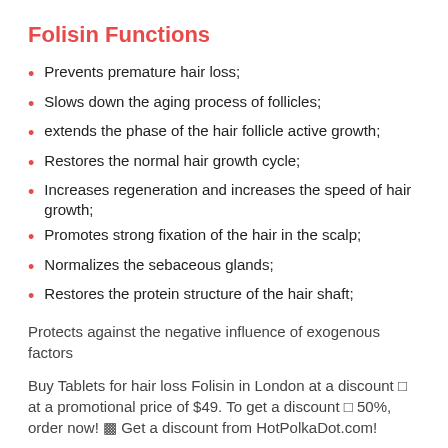Folisin Functions
Prevents premature hair loss;
Slows down the aging process of follicles;
extends the phase of the hair follicle active growth;
Restores the normal hair growth cycle;
Increases regeneration and increases the speed of hair growth;
Promotes strong fixation of the hair in the scalp;
Normalizes the sebaceous glands;
Restores the protein structure of the hair shaft;
Protects against the negative influence of exogenous factors
Buy Tablets for hair loss Folisin in London at a discount ◻ at a promotional price of $49. To get a discount ◻ 50%, order now! ◻ Get a discount from HotPolkaDot.com!